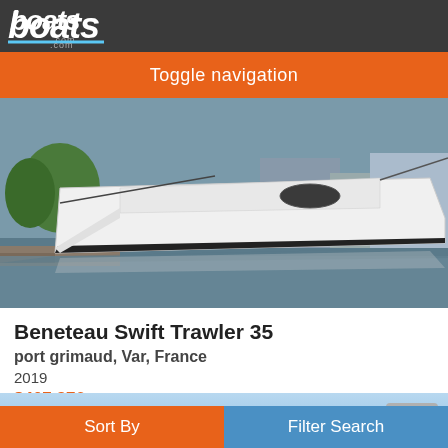boats.com
Toggle navigation
[Figure (photo): White Beneteau Swift Trawler 35 motorboat docked at a marina with green trees and other boats in the background. The boat is seen from the side/bow, showing a sleek white hull.]
Beneteau Swift Trawler 35
port grimaud, Var, France
2019
$407,376
[Figure (photo): Partial view of another boat listing showing sky and water with a photo count badge showing 26 photos.]
Sort By
Filter Search